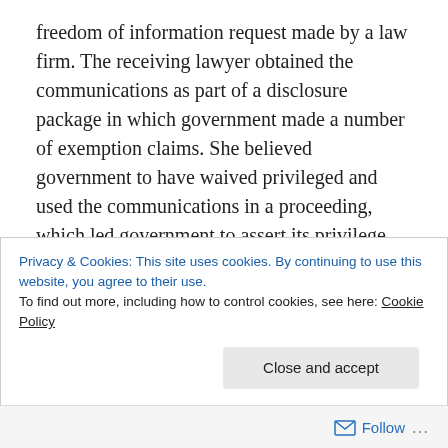freedom of information request made by a law firm. The receiving lawyer obtained the communications as part of a disclosure package in which government made a number of exemption claims. She believed government to have waived privileged and used the communications in a proceeding, which led government to assert its privilege claim and claim its disclosure was inadvertent. The Court held there was no waiver. It wasn't highly critical of the receiving lawyer given these facts, but reminded lawyers of their duty to give notice when they receive communications that are apparently
Privacy & Cookies: This site uses cookies. By continuing to use this website, you agree to their use.
To find out more, including how to control cookies, see here: Cookie Policy
Close and accept
Follow